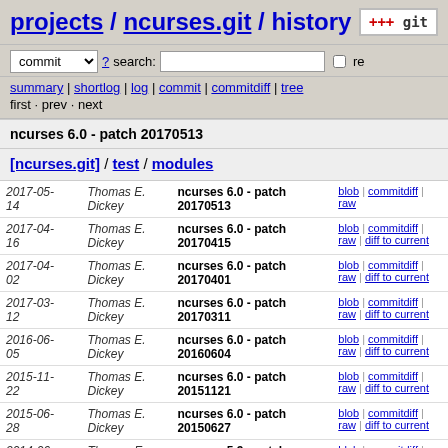projects / ncurses.git / history
commit ? search: re
summary | shortlog | log | commit | commitdiff | tree
first · prev · next
ncurses 6.0 - patch 20170513
[ncurses.git] / test / modules
| Date | Author | Commit Message | Links |
| --- | --- | --- | --- |
| 2017-05-14 | Thomas E. Dickey | ncurses 6.0 - patch 20170513 | blob | commitdiff | raw |
| 2017-04-16 | Thomas E. Dickey | ncurses 6.0 - patch 20170415 | blob | commitdiff | raw | diff to current |
| 2017-04-02 | Thomas E. Dickey | ncurses 6.0 - patch 20170401 | blob | commitdiff | raw | diff to current |
| 2017-03-12 | Thomas E. Dickey | ncurses 6.0 - patch 20170311 | blob | commitdiff | raw | diff to current |
| 2016-06-05 | Thomas E. Dickey | ncurses 6.0 - patch 20160604 | blob | commitdiff | raw | diff to current |
| 2015-11-22 | Thomas E. Dickey | ncurses 6.0 - patch 20151121 | blob | commitdiff | raw | diff to current |
| 2015-06-28 | Thomas E. Dickey | ncurses 6.0 - patch 20150627 | blob | commitdiff | raw | diff to current |
| 2014-06-21 | Thomas E. Dickey | ncurses 5.9 - patch 20140621 | blob | commitdiff | raw | diff to current |